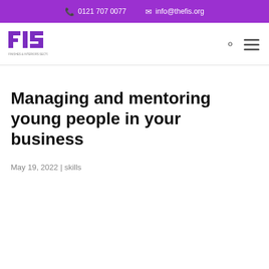0121 707 0077   info@thefis.org
[Figure (logo): FIS logo - purple block letters F I S with tagline text below]
Managing and mentoring young people in your business
May 19, 2022 | skills